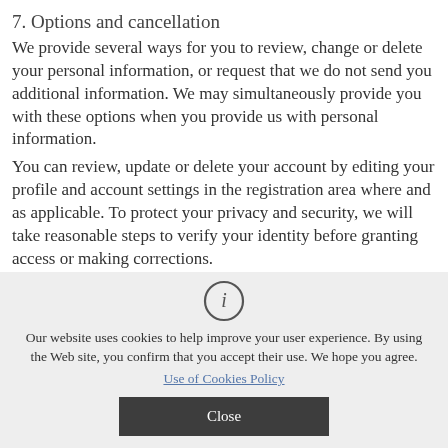7. Options and cancellation
We provide several ways for you to review, change or delete your personal information, or request that we do not send you additional information. We may simultaneously provide you with these options when you provide us with personal information.
You can review, update or delete your account by editing your profile and account settings in the registration area where and as applicable. To protect your privacy and security, we will take reasonable steps to verify your identity before granting access or making corrections.
If you have difficulty changing or deleting your personal information, you can contact us for assistance.
[Figure (infographic): Cookie consent overlay with info icon, cookie policy text, a link to Use of Cookies Policy, and a Close button]
Our website uses cookies to help improve your user experience. By using the Web site, you confirm that you accept their use. We hope you agree.
Use of Cookies Policy
Close